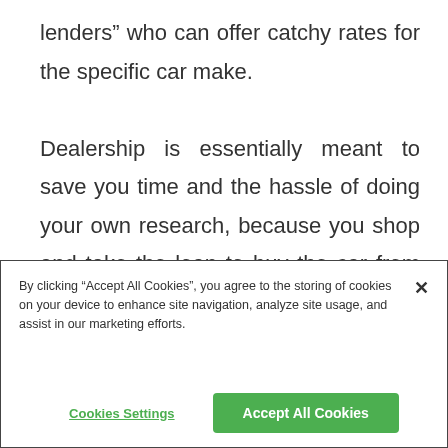lenders” who can offer catchy rates for the specific car make.

Dealership is essentially meant to save you time and the hassle of doing your own research, because you shop and take the loan to buy the car from the same place: since there can be multiple lenders involved, you might still receive more than just a “one size fits all” deal.
By clicking “Accept All Cookies”, you agree to the storing of cookies on your device to enhance site navigation, analyze site usage, and assist in our marketing efforts.
Cookies Settings
Accept All Cookies